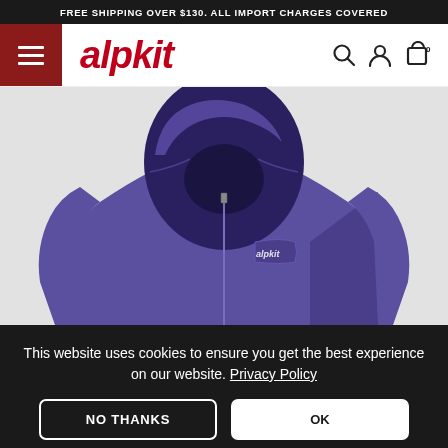FREE SHIPPING OVER $130. ALL IMPORT CHARGES COVERED
[Figure (logo): Alpkit website navigation bar with hamburger menu icon in red square, alpkit italic red logo, search icon, user icon, and cart icon with 0 count]
[Figure (photo): Purple/periwinkle hooded jacket (softshell/waterproof) displayed on grey background, upper body view showing hood, zipper, and chest pocket with alpkit logo]
This website uses cookies to ensure you get the best experience on our website. Privacy Policy
NO THANKS
OK